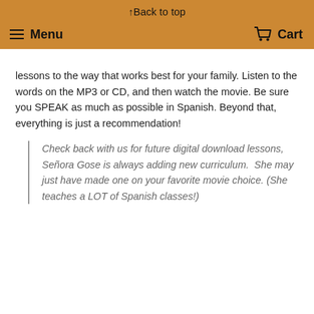↑Back to top
≡ Menu    🛒 Cart
lessons to the way that works best for your family. Listen to the words on the MP3 or CD, and then watch the movie. Be sure you SPEAK as much as possible in Spanish. Beyond that, everything is just a recommendation!
Check back with us for future digital download lessons, Señora Gose is always adding new curriculum.  She may just have made one on your favorite movie choice. (She teaches a LOT of Spanish classes!)